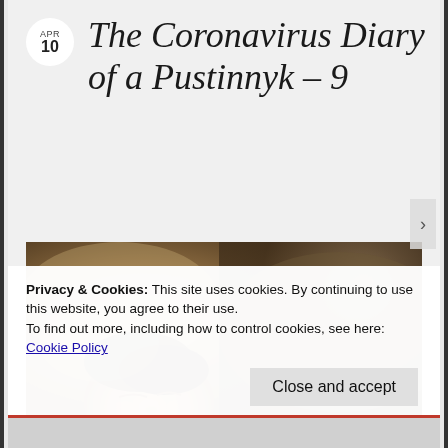The Coronavirus Diary of a Pustinnyk – 9
[Figure (photo): Dark classical painting showing a sleeping or resting baby/child, with warm brownish tones reminiscent of old master paintings.]
Privacy & Cookies: This site uses cookies. By continuing to use this website, you agree to their use.
To find out more, including how to control cookies, see here:
Cookie Policy
Close and accept